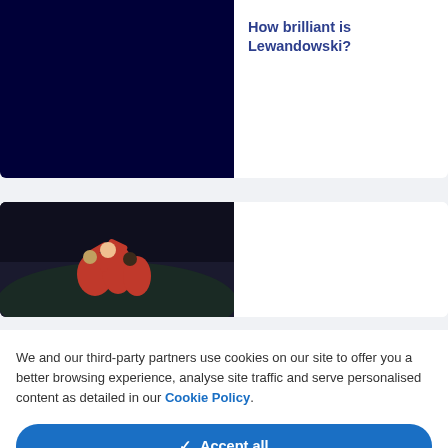[Figure (photo): Dark navy blue image placeholder for article thumbnail]
How brilliant is Lewandowski?
[Figure (photo): Soccer players celebrating on pitch at night, dark scene]
We and our third-party partners use cookies on our site to offer you a better browsing experience, analyse site traffic and serve personalised content as detailed in our Cookie Policy.
✓  Accept all
✕  Reject all
Cookie settings  >